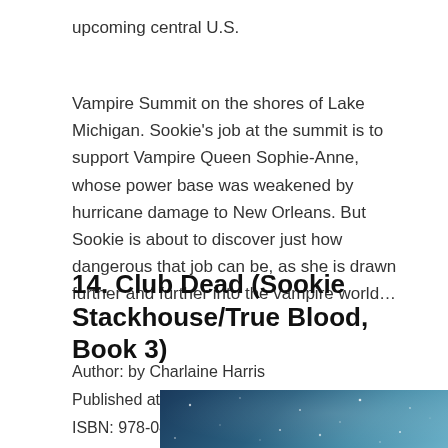upcoming central U.S.
Vampire Summit on the shores of Lake Michigan. Sookie's job at the summit is to support Vampire Queen Sophie-Anne, whose power base was weakened by hurricane damage to New Orleans. But Sookie is about to discover just how dangerous that job can be, as she is drawn further and further into the vampire world…
14. Club Dead (Sookie Stackhouse/True Blood, Book 3)
Author: by Charlaine Harris
Published at: Ace Books (April 29, 2003)
ISBN: 978-0441010516
[Figure (photo): Book cover image for Club Dead, showing a dark teal/blue starry background]